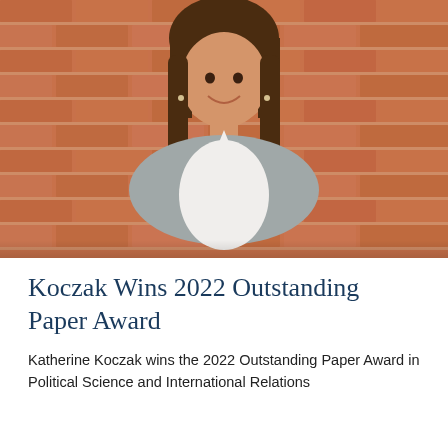[Figure (photo): Portrait photo of a young woman with long brown hair, smiling, wearing a white top and gray cardigan, standing in front of a red brick wall.]
Koczak Wins 2022 Outstanding Paper Award
Katherine Koczak wins the 2022 Outstanding Paper Award in Political Science and International Relations